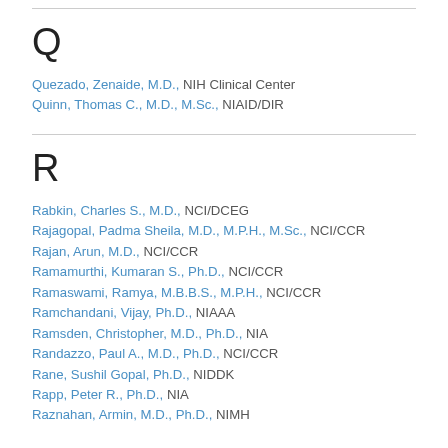Q
Quezado, Zenaide, M.D., NIH Clinical Center
Quinn, Thomas C., M.D., M.Sc., NIAID/DIR
R
Rabkin, Charles S., M.D., NCI/DCEG
Rajagopal, Padma Sheila, M.D., M.P.H., M.Sc., NCI/CCR
Rajan, Arun, M.D., NCI/CCR
Ramamurthi, Kumaran S., Ph.D., NCI/CCR
Ramaswami, Ramya, M.B.B.S., M.P.H., NCI/CCR
Ramchandani, Vijay, Ph.D., NIAAA
Ramsden, Christopher, M.D., Ph.D., NIA
Randazzo, Paul A., M.D., Ph.D., NCI/CCR
Rane, Sushil Gopal, Ph.D., NIDDK
Rapp, Peter R., Ph.D., NIA
Raznahan, Armin, M.D., Ph.D., NIMH